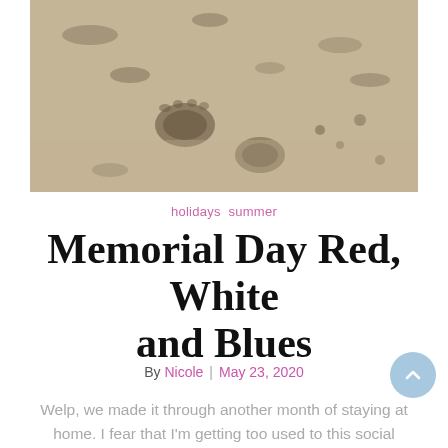[Figure (photo): Close-up photo of sandy beach with footprints pressed into the sand, showing various impressions and textures in light tan/beige sand.]
holidays summer
Memorial Day Red, White and Blues
By Nicole | May 23, 2020
Welp, we made it through another month of staying at home. I fear that I'm getting too used to this social distancing stuff and will be turning into a hermit.